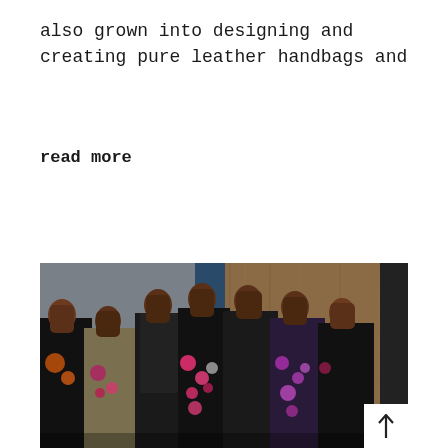also grown into designing and creating pure leather handbags and
read more
[Figure (photo): Group of seven female models wearing fashion designs including floral prints and dark outfits, posed together in an indoor setting with grey and wood-panelled walls]